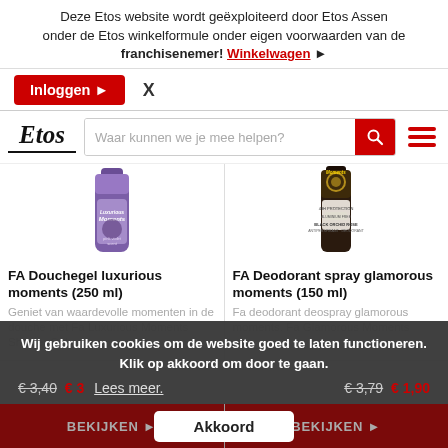Deze Etos website wordt geëxploiteerd door Etos Assen onder de Etos winkelformule onder eigen voorwaarden van de franchisenemer! Winkelwagen ▶
Inloggen ▶  X
[Figure (logo): Etos logo and search bar with hamburger menu]
[Figure (photo): FA Douchegel luxurious moments 250ml product bottle (purple)]
[Figure (photo): FA Deodorant spray glamorous moments 150ml product bottle (dark)]
FA Douchegel luxurious moments (250 ml)
Geniet van waardevolle momenten in de douche met Fa Luxurious Moments Shower Gel
FA Deodorant spray glamorous moments (150 ml)
Fa deodorant deospray glamorous moments. Fa Glamorous Moments
Wij gebruiken cookies om de website goed te laten functioneren. Klik op akkoord om door te gaan.
€3,40  €3  Lees meer.  €3,79  €1,90
Akkoord
BEKIJKEN  BEKIJKEN